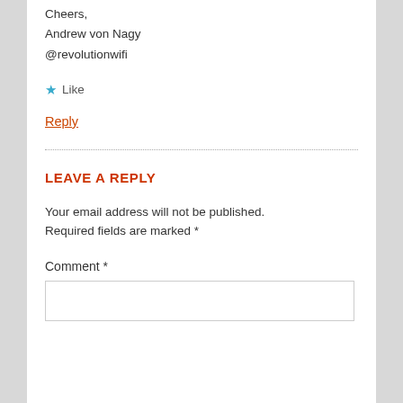Cheers,
Andrew von Nagy
@revolutionwifi
★ Like
Reply
LEAVE A REPLY
Your email address will not be published. Required fields are marked *
Comment *